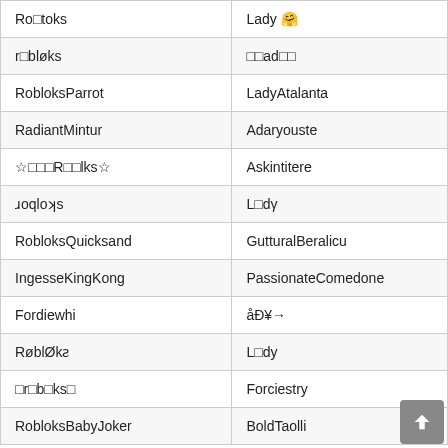| Ro□toks | Lady 🤗 |
| r□bløks | □□ad□□ |
| RobloksParrot | LadyAtalanta |
| RadiantMintur | Adaryouste |
| ☆□□□R□□lks☆ | Askintitere |
| ɹoqloʞs | L□dγ |
| RobloksQuicksand | GutturalBeralicu |
| IngesseKingKong | PassionateComedone |
| Fordiewhi | åÐ¥→ |
| RøblØkƨ | L□dy |
| □r□b□ks□ | Forciestry |
| RobloksBabyJoker | BoldTaolli |